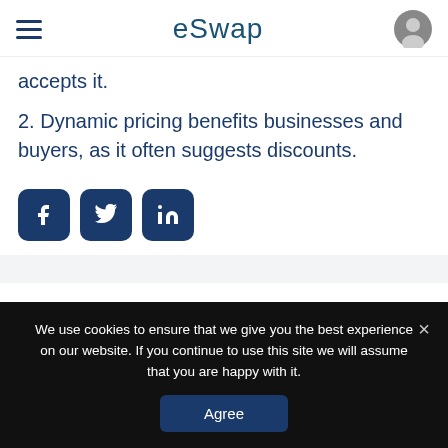eSwap
accepts it.
2. Dynamic pricing benefits businesses and buyers, as it often suggests discounts.
[Figure (other): Social media share buttons: Facebook, Twitter, LinkedIn]
We use cookies to ensure that we give you the best experience on our website. If you continue to use this site we will assume that you are happy with it.
Agree